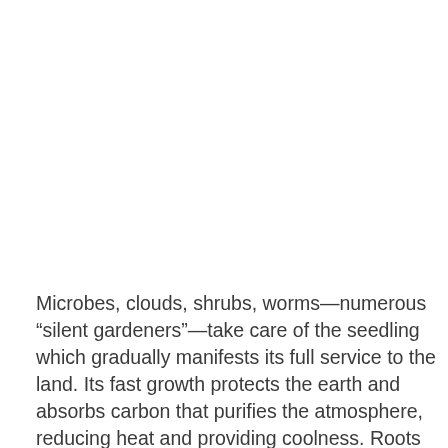Microbes, clouds, shrubs, worms—numerous “silent gardeners”—take care of the seedling which gradually manifests its full service to the land. Its fast growth protects the earth and absorbs carbon that purifies the atmosphere, reducing heat and providing coolness. Roots fix air nitrogen into the soil. Its broad canopy drinks pure sun rays and produces fresh green leaves, which nourish insects